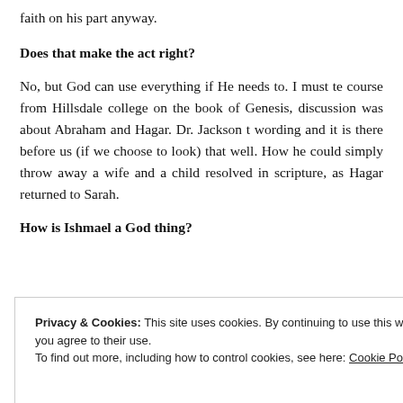faith on his part anyway.
Does that make the act right?
No, but God can use everything if He needs to. I must take a course from Hillsdale college on the book of Genesis, discussion was about Abraham and Hagar. Dr. Jackson t... wording and it is there before us (if we choose to look) that... well. How he could simply throw away a wife and a child... resolved in scripture, as Hagar returned to Sarah.
How is Ishmael a God thing?
Privacy & Cookies: This site uses cookies. By continuing to use this website, you agree to their use.
To find out more, including how to control cookies, see here: Cookie Policy
they do not change. Jonah seemed to know something of...